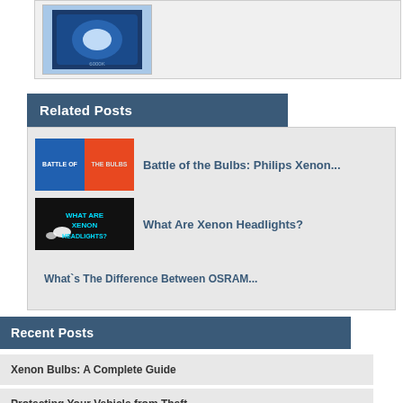[Figure (photo): Product image of a car headlight bulb package with blue packaging]
Related Posts
[Figure (photo): Battle of the Bulbs thumbnail - blue and orange split image]
Battle of the Bulbs: Philips Xenon...
[Figure (photo): What Are Xenon Headlights? thumbnail - dark image with headlight and cyan text]
What Are Xenon Headlights?
What`s The Difference Between OSRAM...
Recent Posts
Xenon Bulbs: A Complete Guide
Protecting Your Vehicle from Theft...
Which Bulb Type Do I Need?